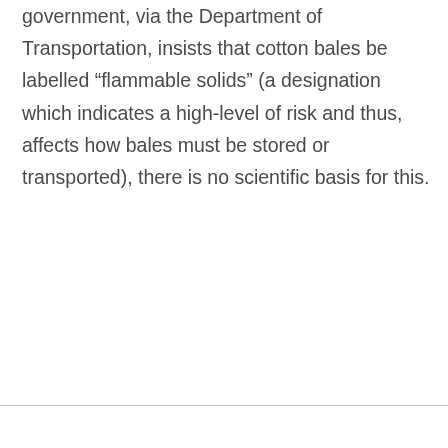government, via the Department of Transportation, insists that cotton bales be labelled “flammable solids” (a designation which indicates a high-level of risk and thus, affects how bales must be stored or transported), there is no scientific basis for this.